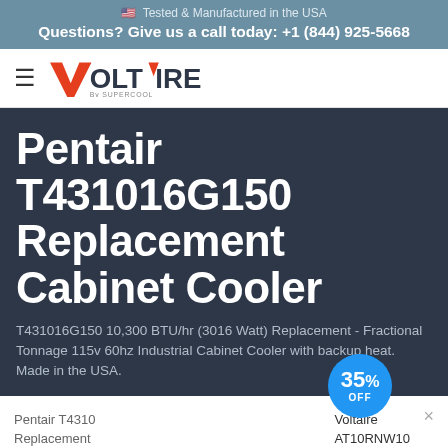🇺🇸 Tested & Manufactured in the USA
Questions? Give us a call today: +1 (844) 925-5668
[Figure (logo): Voltaire By Supercool logo with hamburger menu icon]
Pentair T431016G150 Replacement Cabinet Cooler
T431016G150 10,300 BTU/hr (3016 Watt) Replacement - Fractional Tonnage 115v 60hz Industrial Cabinet Cooler with backup heat. Made in the USA.
35% OFF
Pentair T4310 Replacement
$5,076 Not Available
Voltaire AT10RNW10
$3,892 Buy Now